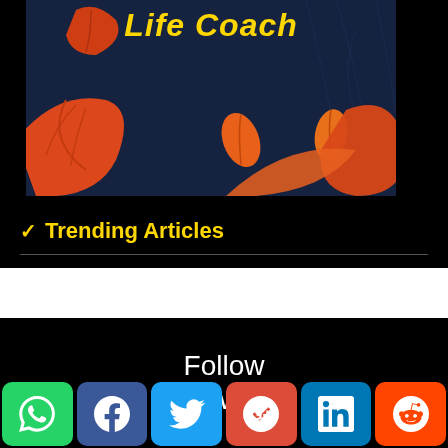[Figure (illustration): Dark navy blue background with autumn/fall leaves in orange and red colors, with the text 'Life Coach' in bold yellow italic at the top center]
✔ Trending Articles
Follow MindWiper
[Figure (infographic): Row of six social media icon buttons: WhatsApp (green), Facebook (dark blue), Twitter (light blue), Google+ (red), LinkedIn (blue), Reddit (orange)]